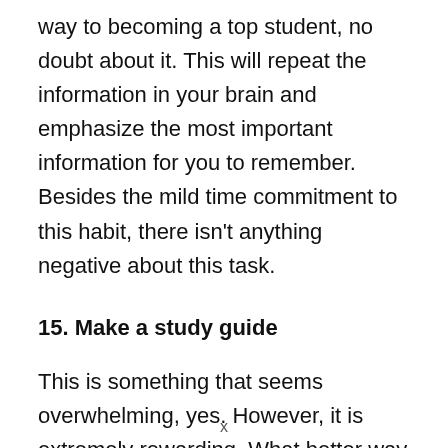way to becoming a top student, no doubt about it. This will repeat the information in your brain and emphasize the most important information for you to remember. Besides the mild time commitment to this habit, there isn't anything negative about this task.
15. Make a study guide
This is something that seems overwhelming, yes. However, it is extremely rewarding. What better way to study than to write out
x